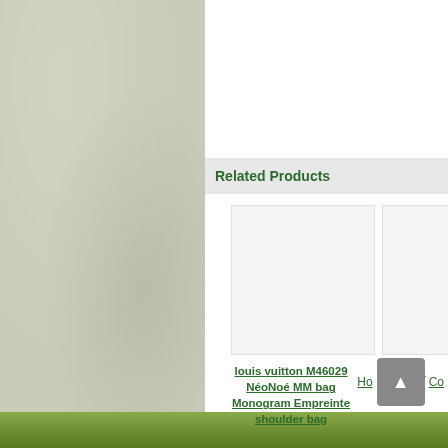[Figure (photo): Left panel with a light olive/sage green textured background filling approximately the left 45% of the page]
Related Products
[Figure (photo): Product image placeholder - light gray square for louis vuitton M46029 NéoNoé MM bag Monogram Empreinte shoulder bag]
louis vuitton M46029 NéoNoé MM bag Monogram Empreinte shoulder bag
[Figure (photo): Partially visible second product image placeholder on the right edge]
NéoNoé... Em...
Ho... Co...